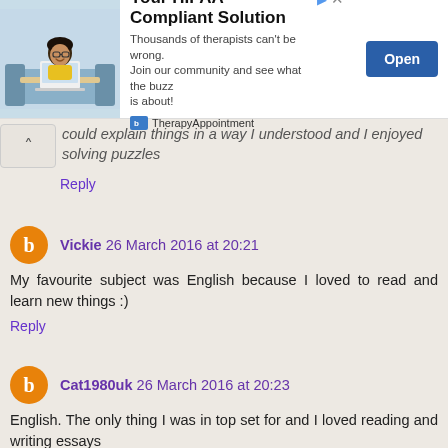[Figure (infographic): Ad banner for TherapyAppointment: Your HIPAA-Compliant Solution. Thousands of therapists can't be wrong. Join our community and see what the buzz is about! Open button.]
could explain things in a way I understood and I enjoyed solving puzzles
Reply
Vickie 26 March 2016 at 20:21
My favourite subject was English because I loved to read and learn new things :)
Reply
Cat1980uk 26 March 2016 at 20:23
English. The only thing I was in top set for and I loved reading and writing essays
Reply